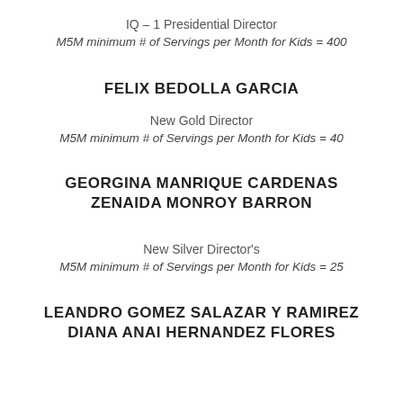IQ – 1 Presidential Director
M5M minimum # of Servings per Month for Kids = 400
FELIX BEDOLLA GARCIA
New Gold Director
M5M minimum # of Servings per Month for Kids = 40
GEORGINA MANRIQUE CARDENAS
ZENAIDA MONROY BARRON
New Silver Director's
M5M minimum # of Servings per Month for Kids = 25
LEANDRO GOMEZ SALAZAR Y RAMIREZ
DIANA ANAI HERNANDEZ FLORES